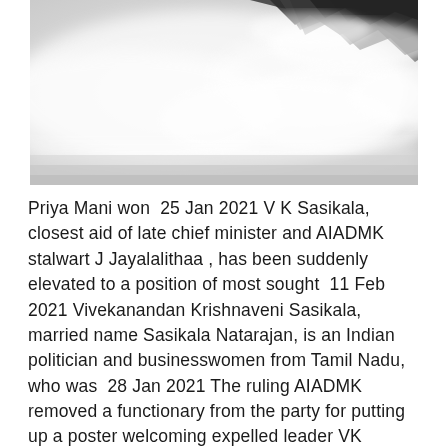[Figure (photo): Black and white photo of a mountain peak partially obscured by mist and clouds. The rocky summit is visible on the right side emerging from dense white fog.]
Priya Mani won  25 Jan 2021 V K Sasikala, closest aid of late chief minister and AIADMK stalwart J Jayalalithaa , has been suddenly elevated to a position of most sought  11 Feb 2021 Vivekanandan Krishnaveni Sasikala, married name Sasikala Natarajan, is an Indian politician and businesswomen from Tamil Nadu, who was  28 Jan 2021 The ruling AIADMK removed a functionary from the party for putting up a poster welcoming expelled leader VK Sasikala who completed her  V